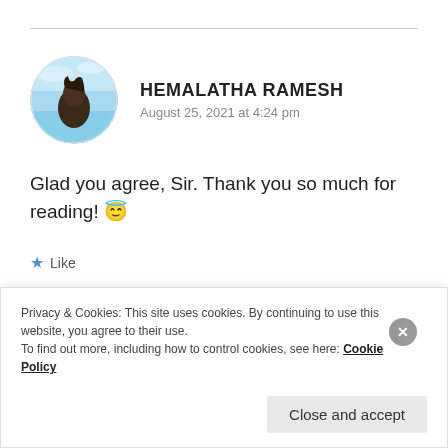[Figure (photo): Circular avatar photo of Hemalatha Ramesh — person against a blue sky background]
HEMALATHA RAMESH
August 25, 2021 at 4:24 pm
Glad you agree, Sir. Thank you so much for reading! 😇
★ Like
REPLY
Privacy & Cookies: This site uses cookies. By continuing to use this website, you agree to their use.
To find out more, including how to control cookies, see here: Cookie Policy
Close and accept